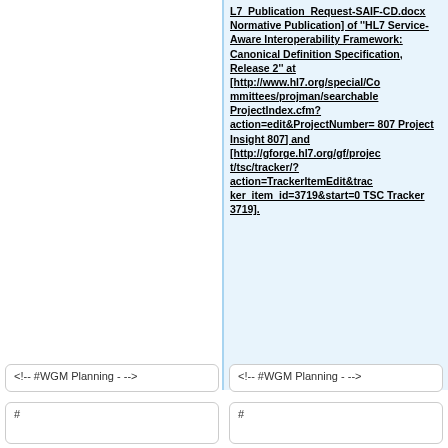L7_Publication_Request-SAIF-CD.docx Normative Publication] of ''HL7 Service-Aware Interoperability Framework: Canonical Definition Specification, Release 2'' at [http://www.hl7.org/special/Committees/projman/searchableProjectIndex.cfm?action=edit&ProjectNumber=807 Project Insight 807] and [http://gforge.hl7.org/gf/project/tsc/tracker/?action=TrackerItemEdit&tracker_item_id=3719&start=0 TSC Tracker 3719].
<!-- #WGM Planning - -->
<!-- #WGM Planning - -->
#
#